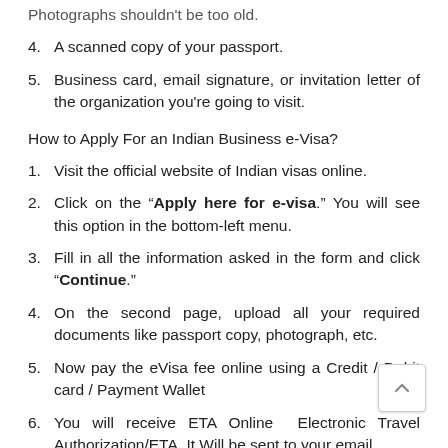Photographs shouldn't be too old.
A scanned copy of your passport.
Business card, email signature, or invitation letter of the organization you're going to visit.
How to Apply For an Indian Business e-Visa?
Visit the official website of Indian visas online.
Click on the "Apply here for e-visa." You will see this option in the bottom-left menu.
Fill in all the information asked in the form and click "Continue."
On the second page, upload all your required documents like passport copy, photograph, etc.
Now pay the eVisa fee online using a Credit / Debit card / Payment Wallet
You will receive ETA Online Electronic Travel Authorization/ETA. It Will be sent to your email.